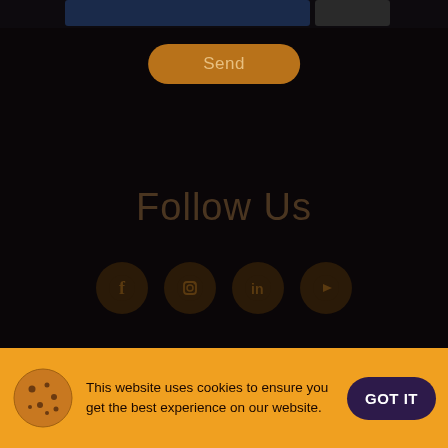[Figure (screenshot): Top portion showing form input fields and avatar placeholder on dark background]
[Figure (other): Send button with rounded corners and amber/brown color]
Follow Us
[Figure (other): Four circular social media icons (Facebook, Instagram, LinkedIn, YouTube) in dark amber color on dark background]
[Figure (logo): Atout France agency logo]
This website uses cookies to ensure you get the best experience on our website.
[Figure (other): Cookie consent bar with cookie icon, text, and GOT IT button]